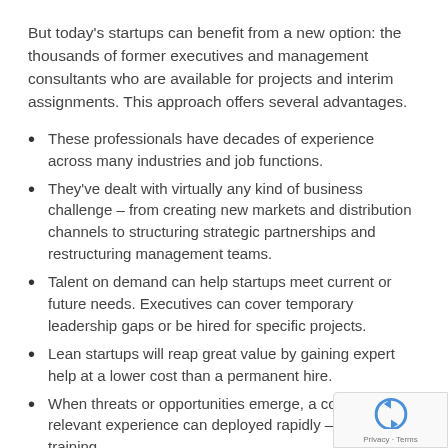But today's startups can benefit from a new option: the thousands of former executives and management consultants who are available for projects and interim assignments. This approach offers several advantages.
These professionals have decades of experience across many industries and job functions.
They've dealt with virtually any kind of business challenge – from creating new markets and distribution channels to structuring strategic partnerships and restructuring management teams.
Talent on demand can help startups meet current or future needs. Executives can cover temporary leadership gaps or be hired for specific projects.
Lean startups will reap great value by gaining expert help at a lower cost than a permanent hire.
When threats or opportunities emerge, a consultant relevant experience can deployed rapidly – with no training